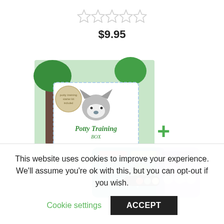[Figure (other): Five empty star rating icons in a row]
$9.95
[Figure (photo): Product photo: Potty Training Box with a fox illustration, plus symbol, and additional product cards with stickers]
This website uses cookies to improve your experience. We'll assume you're ok with this, but you can opt-out if you wish.
Cookie settings
ACCEPT